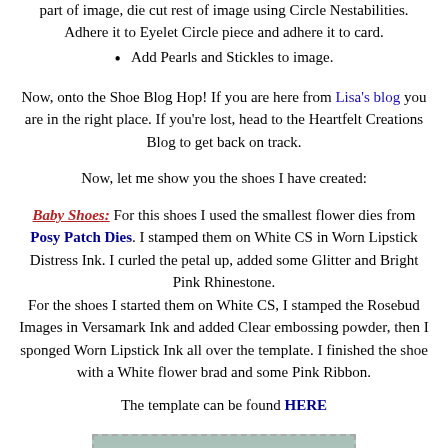part of image, die cut rest of image using Circle Nestabilities. Adhere it to Eyelet Circle piece and adhere it to card.
Add Pearls and Stickles to image.
Now, onto the Shoe Blog Hop! If you are here from Lisa's blog you are in the right place. If you're lost, head to the Heartfelt Creations Blog to get back on track.
Now, let me show you the shoes I have created:
Baby Shoes: For this shoes I used the smallest flower dies from Posy Patch Dies. I stamped them on White CS in Worn Lipstick Distress Ink. I curled the petal up, added some Glitter and Bright Pink Rhinestone. For the shoes I started them on White CS, I stamped the Rosebud Images in Versamark Ink and added Clear embossing powder, then I sponged Worn Lipstick Ink all over the template. I finished the shoe with a White flower brad and some Pink Ribbon.
The template can be found HERE
[Figure (photo): Photo of baby shoes, partially visible at the bottom of the page, with a teal/green background]